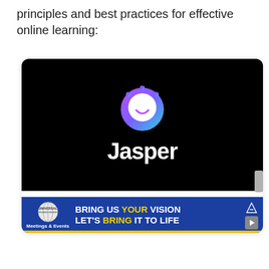principles and best practices for effective online learning:
[Figure (logo): Jasper AI logo on black background. A colorful circular face/ring icon (gradient purple to blue/teal) above the wordmark 'Jasper' in large white bold sans-serif text.]
Jarvis is a tool that allows you to generate any content 10x times faster! I was able to create a video script or a blog post in a matter of 15
[Figure (infographic): Advertisement banner: Universal Orlando Resort Meetings & Events logo on blue background with text 'BRING US YOUR VISION LET'S BRING IT TO LIFE' in white and yellow bold letters.]